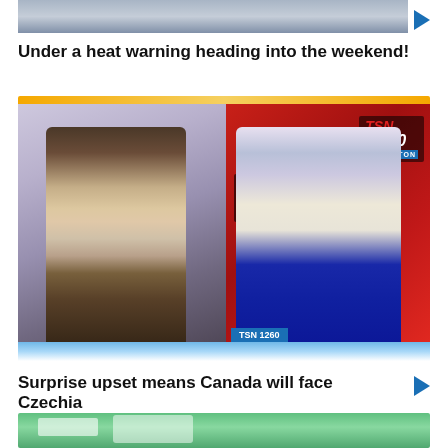[Figure (screenshot): Partial top thumbnail of a news video, partially cropped at top edge]
Under a heat warning heading into the weekend!
[Figure (screenshot): TSN 1260 Edmonton broadcast screenshot showing two men in a split-screen video call: left person in brown jacket with beard, right person in blue suit in front of TSN 1260 Edmonton branding. Yellow top accent bar and blue fade bottom bar visible.]
Surprise upset means Canada will face Czechia
[Figure (screenshot): Partial bottom thumbnail showing a bathroom with green wall and white fixtures, partially cropped at bottom edge]